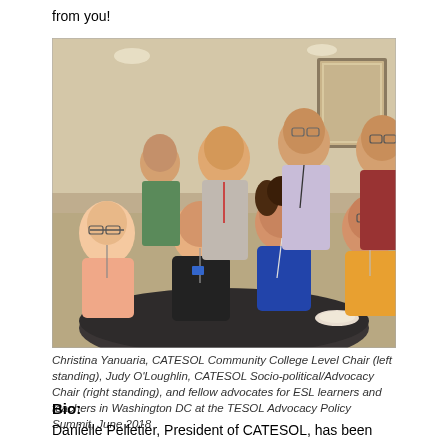from you!
[Figure (photo): Group photo of Christina Yanuaria, CATESOL Community College Level Chair (left standing), Judy O'Loughlin, CATESOL Socio-political/Advocacy Chair (right standing), and fellow advocates for ESL learners and teachers, seated and standing around a round table in a conference room at the TESOL Advocacy Policy Summit, June 2018.]
Christina Yanuaria, CATESOL Community College Level Chair (left standing), Judy O'Loughlin, CATESOL Socio-political/Advocacy Chair (right standing), and fellow advocates for ESL learners and teachers in Washington DC at the TESOL Advocacy Policy Summit, June 2018
Bio:
Danielle Pelletier, President of CATESOL, has been